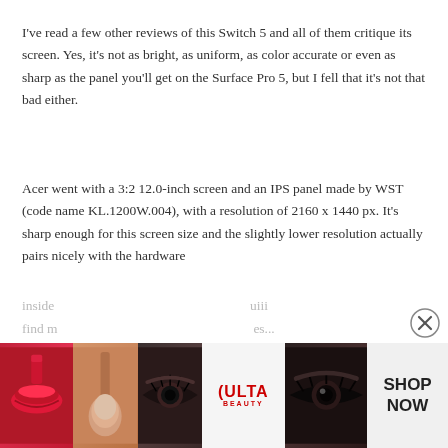I've read a few other reviews of this Switch 5 and all of them critique its screen. Yes, it's not as bright, as uniform, as color accurate or even as sharp as the panel you'll get on the Surface Pro 5, but I fell that it's not that bad either.
Acer went with a 3:2 12.0-inch screen and an IPS panel made by WST (code name KL.1200W.004), with a resolution of 2160 x 1440 px. It's sharp enough for this screen size and the slightly lower resolution actually pairs nicely with the hardware inside... find m... es...
[Figure (other): ULTA Beauty advertisement banner showing makeup images (lips, brush, eye), ULTA logo, eye makeup photo, and SHOP NOW button with close (X) button]